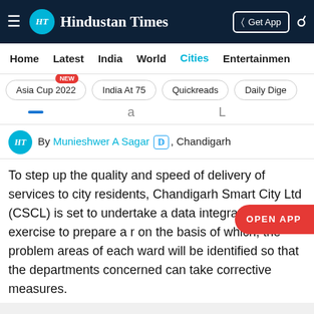Hindustan Times
Home | Latest | India | World | Cities | Entertainment
Asia Cup 2022 (NEW)
India At 75
Quickreads
Daily Dige
By Munieshwer A Sagar , Chandigarh
To step up the quality and speed of delivery of services to city residents, Chandigarh Smart City Ltd (CSCL) is set to undertake a data integrating exercise to prepare a report on the basis of which, the problem areas of each ward will be identified so that the departments concerned can take corrective measures.
Advertisement